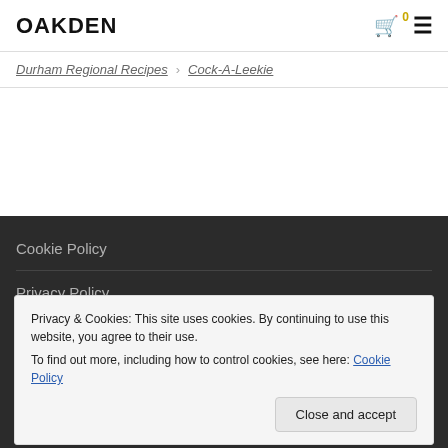OAKDEN
Durham Regional Recipes   Cock-A-Leekie
Cookie Policy
Privacy Policy
Terms And Conditions
Privacy & Cookies: This site uses cookies. By continuing to use this website, you agree to their use.
To find out more, including how to control cookies, see here: Cookie Policy
[Close and accept]